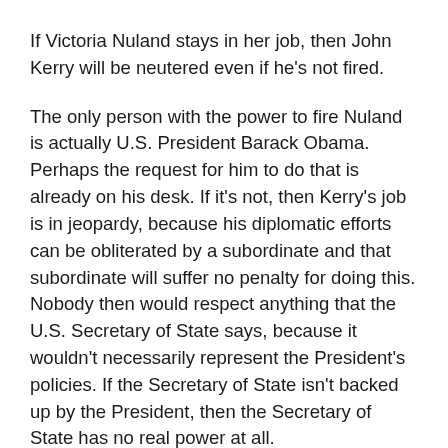If Victoria Nuland stays in her job, then John Kerry will be neutered even if he's not fired.
The only person with the power to fire Nuland is actually U.S. President Barack Obama. Perhaps the request for him to do that is already on his desk. If it's not, then Kerry's job is in jeopardy, because his diplomatic efforts can be obliterated by a subordinate and that subordinate will suffer no penalty for doing this. Nobody then would respect anything that the U.S. Secretary of State says, because it wouldn't necessarily represent the President's policies. If the Secretary of State isn't backed up by the President, then the Secretary of State has no real power at all.
Investigative historian Eric Zuesse is the author, most